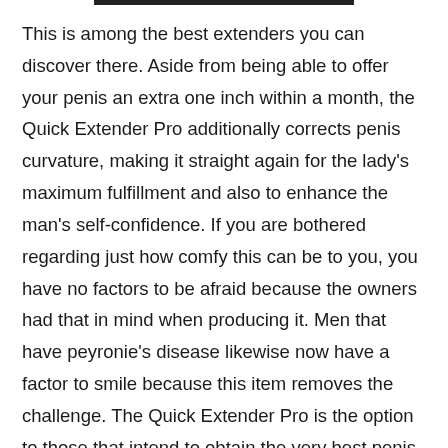This is among the best extenders you can discover there. Aside from being able to offer your penis an extra one inch within a month, the Quick Extender Pro additionally corrects penis curvature, making it straight again for the lady's maximum fulfillment and also to enhance the man's self-confidence. If you are bothered regarding just how comfy this can be to you, you have no factors to be afraid because the owners had that in mind when producing it. Men that have peyronie's disease likewise now have a factor to smile because this item removes the challenge. The Quick Extender Pro is the option to those that intend to obtain the very best penis form without going for a surgical treatment. Customers that have used this item constantly express their optimum satisfaction and do not think twice to refer individuals due to the fact that it is likewise really affordable. The makers usually give discounts as well as you might be fortunate to have up to 80% price lower when you make an order. The product